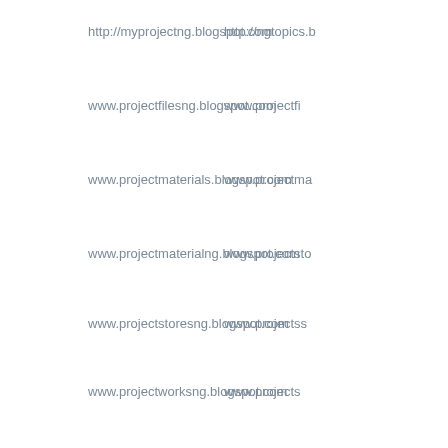http://myprojectng.blogspot.com
http://ngtopics.b...
www.projectfilesng.blogspot.com
www.projectfi...
www.projectmaterials.blogspot.com
www.projectma...
www.projectmaterialng.blogspot.com
www.projectsto...
www.projectstoresng.blogspot.com
www.projectss...
www.projectworksng.blogspot.com
www.projects...
www.projectbaseng.blogspot.com
www.projectb...
www.projectshareng.blogspot.com
www.projectsh...
www.projectwriteupng.blogspot.com
www.projectw...